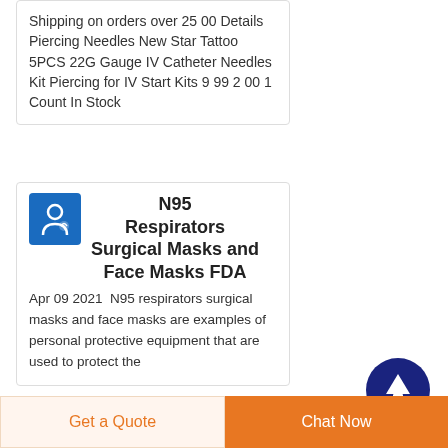Shipping on orders over 25 00 Details Piercing Needles New Star Tattoo 5PCS 22G Gauge IV Catheter Needles Kit Piercing for IV Start Kits 9 99 2 00 1 Count In Stock
N95 Respirators Surgical Masks and Face Masks FDA
Apr 09 2021  N95 respirators surgical masks and face masks are examples of personal protective equipment that are used to protect the
[Figure (logo): Blue square icon with a white figure/person graphic]
[Figure (illustration): Dark navy circular back-to-top button with white upward arrow]
Get a Quote
Chat Now